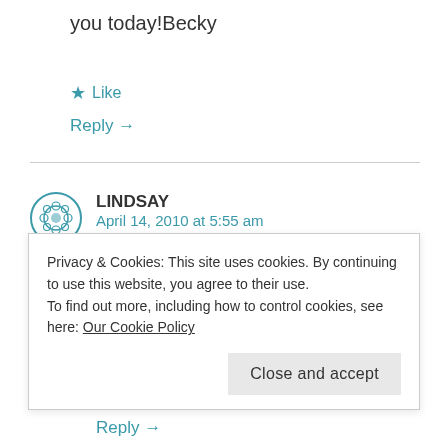you today!Becky
★ Like
Reply →
LINDSAY
April 14, 2010 at 5:55 am
Hi Lisa,I'm visiting you through your sweet sister, Lynnette. Love your blog! The quote you included in this post is so true! Have a
Privacy & Cookies: This site uses cookies. By continuing to use this website, you agree to their use.
To find out more, including how to control cookies, see here: Our Cookie Policy
Close and accept
Reply →